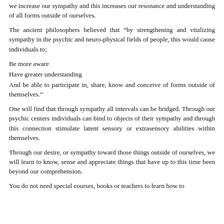we increase our sympathy and this increases our resonance and understanding of all forms outside of ourselves.
The ancient philosophers believed that “by strengthening and vitalizing sympathy in the psychic and neuro-physical fields of people, this would cause individuals to;
Be more aware
Have greater understanding
And be able to participate in, share, know and conceive of forms outside of themselves.”
One will find that through sympathy all intervals can be bridged. Through our psychic centers individuals can bind to objects of their sympathy and through this connection stimulate latent sensory or extrasensory abilities within themselves.
Through our desire, or sympathy toward those things outside of ourselves, we will learn to know, sense and appreciate things that have up to this time been beyond our comprehension.
You do not need special courses, books or teachers to learn how to